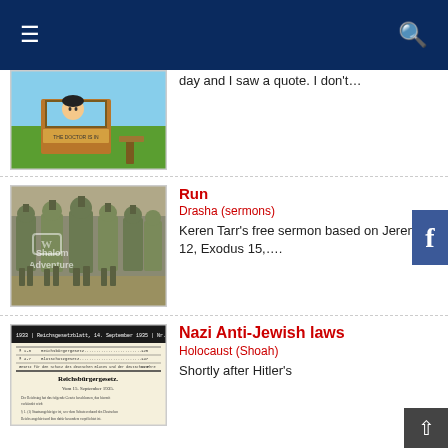Navigation bar with hamburger menu and search icon
[Figure (screenshot): Partial view of Lucy from Peanuts at a psychiatric booth labeled 'THE DOCTOR IS IN']
day and I saw a quote. I don't…
[Figure (photo): Soldiers in military camouflage running/marching in formation with Shalom Adventure watermark]
Run
Drasha (sermons)
Keren Tarr's free sermon based on Jeremiah 12, Exodus 15,….
[Figure (screenshot): Document image showing Nazi-era German newspaper/legal text in German]
Nazi Anti-Jewish laws
Holocaust (Shoah)
Shortly after Hitler's